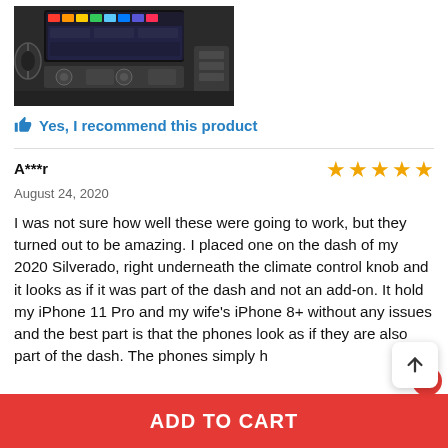[Figure (photo): Car dashboard interior with infotainment screen showing colorful icons, climate controls, and steering wheel visible]
👍 Yes, I recommend this product
A***r
★★★★★
August 24, 2020
I was not sure how well these were going to work, but they turned out to be amazing. I placed one on the dash of my 2020 Silverado, right underneath the climate control knob and it looks as if it was part of the dash and not an add-on. It hold my iPhone 11 Pro and my wife's iPhone 8+ without any issues and the best part is that the phones look as if they are also part of the dash. The phones simply h
ADD TO CART